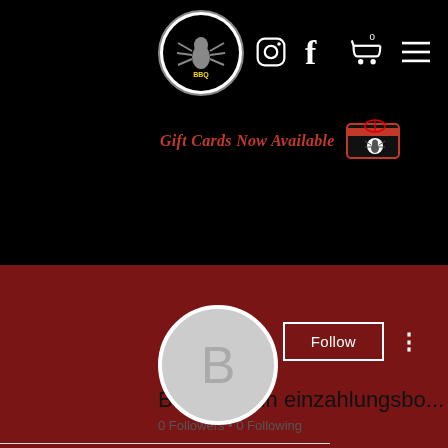[Figure (screenshot): Website header with black background showing a spider logo circle, Instagram icon, Facebook icon, shopping cart icon with 0, hamburger menu icon, and 'Gift Cards Now Available' text in red italic with a gift card image]
[Figure (screenshot): Social media profile page section with dark red background, a gray circular avatar with letter B, a Follow button, and three-dot menu icon]
Bitstarz kein einzahlungsbo...
0 Followers • 0 Following